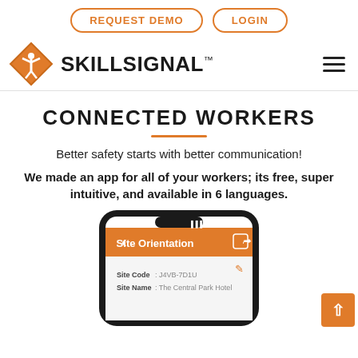REQUEST DEMO | LOGIN | SKILLSIGNAL™ (logo + hamburger menu)
CONNECTED WORKERS
Better safety starts with better communication!
We made an app for all of your workers; its free, super intuitive, and available in 6 languages.
[Figure (photo): Smartphone showing the SkillSignal app with a 'Site Orientation' screen displaying Site Code: J4VB-7D1U and Site Name: The Central Park Hotel]